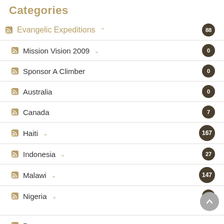Categories
Evangelic Expeditions 88
Mission Vision 2009 0
Sponsor A Climber 0
Australia 0
Canada 7
Haiti 167
Indonesia 27
Malawi 147
Nigeria 53
Peru ...